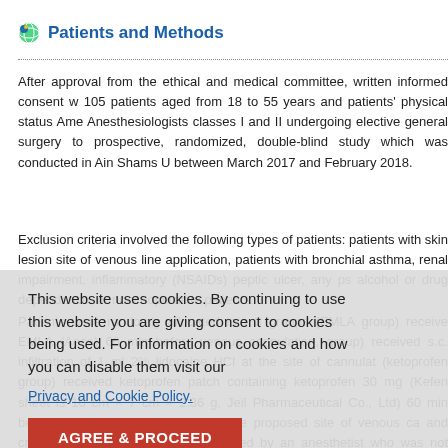Patients and Methods
After approval from the ethical and medical committee, written informed consent w... 105 patients aged from 18 to 55 years and patients' physical status Ame... Anesthesiologists classes I and II undergoing elective general surgery to ... prospective, randomized, double-blind study which was conducted in Ain Shams U... between March 2017 and February 2018.
Exclusion criteria involved the following types of patients: patients with skin lesion... site of venous line application, patients with bronchial asthma, renal impairment, ... inflammatory (NSAIDs) ... peptic ulcer, any ps... alcohol or drug dependence, or noncooperative patients.
Patients were randomly allocated into 3 groups (EMLA group) receive... EMLA... (Acea) 60 min before venous cannulation, ... group) received s.c. infiltration of 1 ml 2% lidocaine HCl at the site of cannulat... (ketoprofen group) received ketoprofen patch containing ketoprofen 30 mg (Kefen... sheet is 10 cm × 7 cm × 2.36 g, Jeil Pharmaceutical Co., Ltd) 60 min before cann... cream and the ketop... the proposed site of venous ca... and cream and s.c. infiltration were applied by an anesthetist who was not oriented... study.
This website uses cookies. By continuing to use this website you are giving consent to cookies being used. For information on cookies and how you can disable them visit our Privacy and Cookie Policy. AGREE & PROCEED